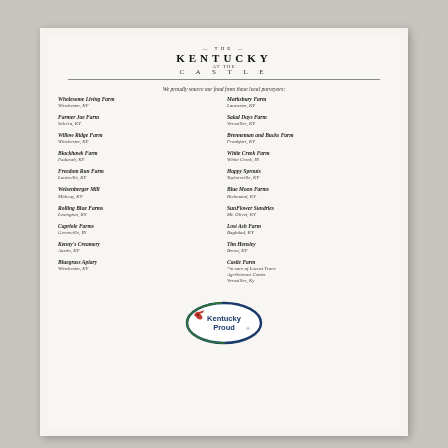THE KENTUCKY AT THE CASTLE
We proudly source our food from these local purveyors:
Wholesome Living Farm
Winchester, KY
Farmer Joe Farm
Selvira, KY
Willow Ridge Farm
Winchester, KY
Blackhawk Farm
Paducah, KY
Freedom Run Farm
Louisville, KY
Weisenberger Mill
Midway, KY
Rolling Blue Farms
Lexington, KY
Capriole Farms
Greenville, IN
Kenny's Creamery
Austin, KY
Bluegrass Apiary
Winchester, KY
Marksbury Farm
Lancaster, KY
Salad Days Farm
Versailles, KY
Brenneman and Bucks Farm
Frankfort, KY
White Creek Farm
White Creek, IN
Happy Sprouts
Taylorsville, KY
Blue Moon Farms
Richmond, KY
SunFlower Sundries
Mt. Olivet, KY
Lost Ash Farm
Baghdad, KY
Tim Hensley
Berea, KY
Castle Farm
*in care of Locust Trace AgriScience Center
Versailles, Ky
[Figure (logo): Kentucky Proud logo - oval shape with blue and green border, cardinal bird graphic, text 'Kentucky Proud' in bold]